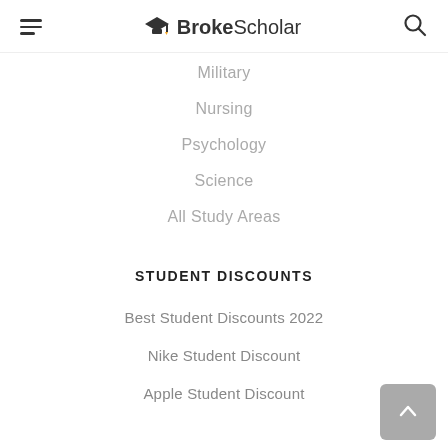BrokeScholar
Military
Nursing
Psychology
Science
All Study Areas
STUDENT DISCOUNTS
Best Student Discounts 2022
Nike Student Discount
Apple Student Discount